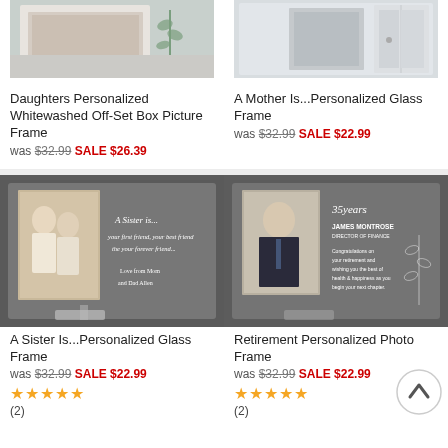[Figure (photo): Daughters Personalized Whitewashed Off-Set Box Picture Frame product image]
Daughters Personalized Whitewashed Off-Set Box Picture Frame
was $32.99 SALE $26.39
[Figure (photo): A Mother Is...Personalized Glass Frame product image]
A Mother Is...Personalized Glass Frame
was $32.99 SALE $22.99
[Figure (photo): A Sister Is...Personalized Glass Frame product image]
A Sister Is...Personalized Glass Frame
was $32.99 SALE $22.99
★★★★★
(2)
[Figure (photo): Retirement Personalized Photo Frame product image]
Retirement Personalized Photo Frame
was $32.99 SALE $22.99
★★★★★
(2)